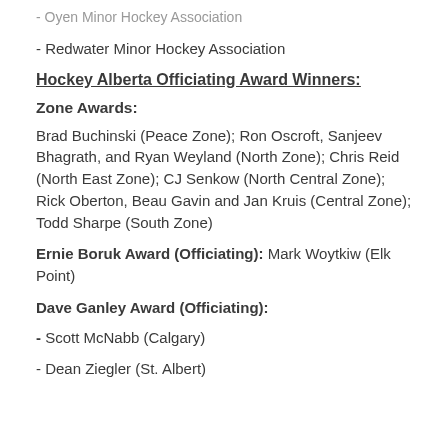- Oyen Minor Hockey Association (partially visible at top)
- Redwater Minor Hockey Association
Hockey Alberta Officiating Award Winners:
Zone Awards:
Brad Buchinski (Peace Zone); Ron Oscroft, Sanjeev Bhagrath, and Ryan Weyland (North Zone); Chris Reid (North East Zone); CJ Senkow (North Central Zone); Rick Oberton, Beau Gavin and Jan Kruis (Central Zone); Todd Sharpe (South Zone)
Ernie Boruk Award (Officiating): Mark Woytkiw (Elk Point)
Dave Ganley Award (Officiating):
- Scott McNabb (Calgary)
- Dean Ziegler (St. Albert)